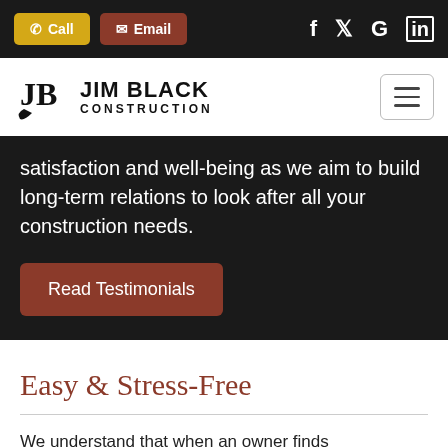Call | Email | Social icons (Facebook, Twitter, Google, LinkedIn)
[Figure (logo): Jim Black Construction logo with stylized JB monogram and company name]
satisfaction and well-being as we aim to build long-term relations to look after all your construction needs.
Read Testimonials
Easy & Stress-Free
We understand that when an owner finds